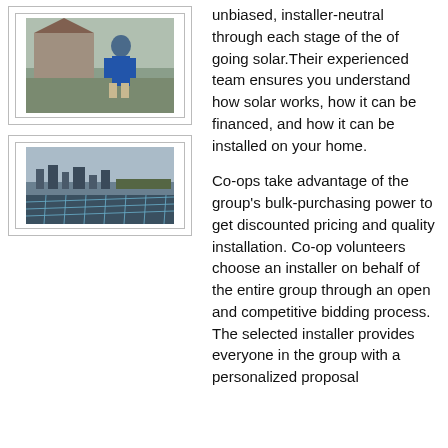[Figure (photo): Person standing outside a house in a blue jacket]
[Figure (photo): Solar panels on a rooftop with a city skyline in the background]
unbiased, installer-neutral through each stage of the of going solar.Their experienced team ensures you understand how solar works, how it can be financed, and how it can be installed on your home.
Co-ops take advantage of the group's bulk-purchasing power to get discounted pricing and quality installation. Co-op volunteers choose an installer on behalf of the entire group through an open and competitive bidding process. The selected installer provides everyone in the group with a personalized proposal